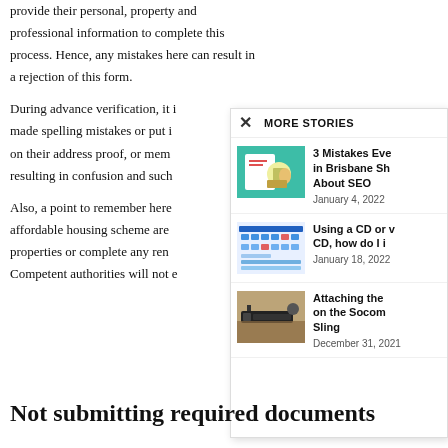provide their personal, property and professional information to complete this process. Hence, any mistakes here can result in a rejection of this form.
During advance verification, it is made spelling mistakes or put i on their address proof, or men resulting in confusion and such
Also, a point to remember here affordable housing scheme are properties or complete any ren Competent authorities will not e
[Figure (screenshot): More Stories overlay panel with close button (X) and three story items: '3 Mistakes Every in Brisbane Sh About SEO' dated January 4, 2022; 'Using a CD or v CD, how do I i' dated January 18, 2022; 'Attaching the on the Socom Sling' dated December 31, 2021]
Not submitting required documents